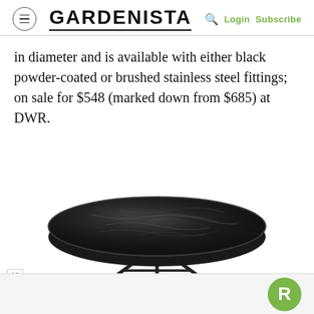GARDENISTA | Login Subscribe
in diameter and is available with either black powder-coated or brushed stainless steel fittings; on sale for $548 (marked down from $685) at DWR.
[Figure (photo): A round black marble coffee table with black powder-coated metal tripod base legs.]